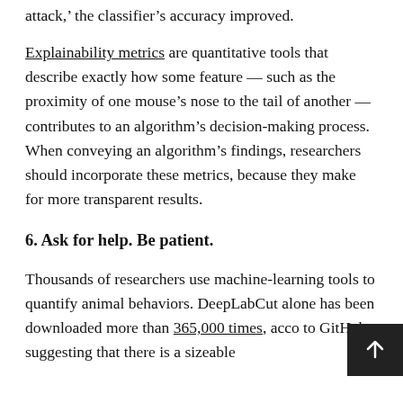attack,' the classifier's accuracy improved.
Explainability metrics are quantitative tools that describe exactly how some feature — such as the proximity of one mouse's nose to the tail of another — contributes to an algorithm's decision-making process. When conveying an algorithm's findings, researchers should incorporate these metrics, because they make for more transparent results.
6. Ask for help. Be patient.
Thousands of researchers use machine-learning tools to quantify animal behaviors. DeepLabCut alone has been downloaded more than 365,000 times, acco to GitHub, suggesting that there is a sizeable